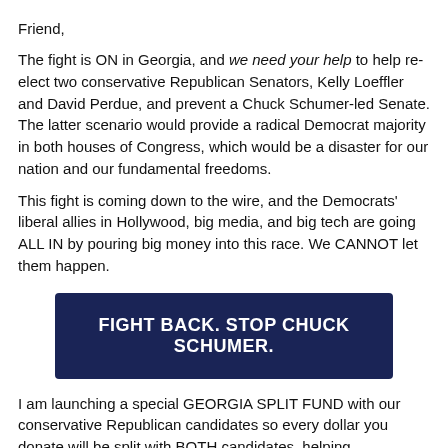Friend,
The fight is ON in Georgia, and we need your help to help re-elect two conservative Republican Senators, Kelly Loeffler and David Perdue, and prevent a Chuck Schumer-led Senate. The latter scenario would provide a radical Democrat majority in both houses of Congress, which would be a disaster for our nation and our fundamental freedoms.
This fight is coming down to the wire, and the Democrats' liberal allies in Hollywood, big media, and big tech are going ALL IN by pouring big money into this race. We CANNOT let them happen.
FIGHT BACK. STOP CHUCK SCHUMER.
I am launching a special GEORGIA SPLIT FUND with our conservative Republican candidates so every dollar you donate will be split with BOTH candidates, helping